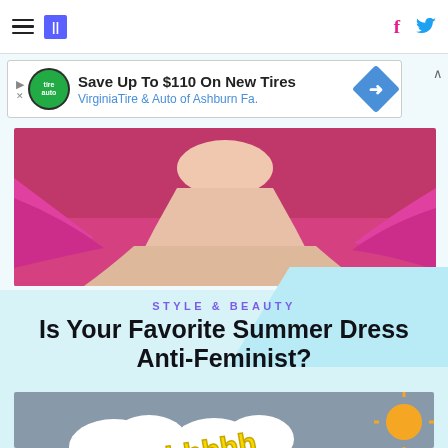HuffPost — hamburger menu, logo, Facebook and Twitter icons
[Figure (other): Advertisement banner: Save Up To $110 On New Tires — Virginia Tire & Auto of Ashburn Fa.]
[Figure (photo): Photo of a woman's maxi skirt / summer dress in pink and white tiered fabric on a pink background]
STYLE & BEAUTY
Is Your Favorite Summer Dress Anti-Feminist?
[Figure (photo): Photo of 3D bubble-letter text reading 'Read In' in purple, 'Ahhhhh' in yellow, and 'Breathe Out' in blue, with white clouds and an orange sun, held in someone's hands]